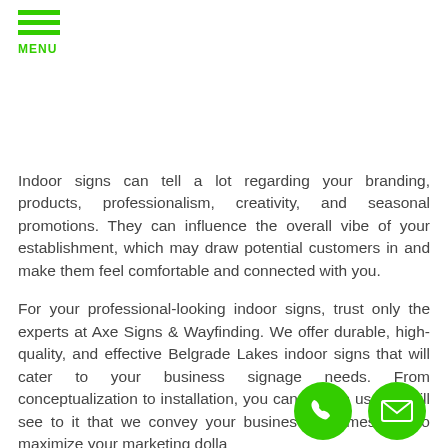MENU
Indoor signs can tell a lot regarding your branding, products, professionalism, creativity, and seasonal promotions. They can influence the overall vibe of your establishment, which may draw potential customers in and make them feel comfortable and connected with you.
For your professional-looking indoor signs, trust only the experts at Axe Signs & Wayfinding. We offer durable, high-quality, and effective Belgrade Lakes indoor signs that will cater to your business signage needs. From conceptualization to installation, you can rely on us. We will see to it that we convey your business brand message to maximize your marketing dolla